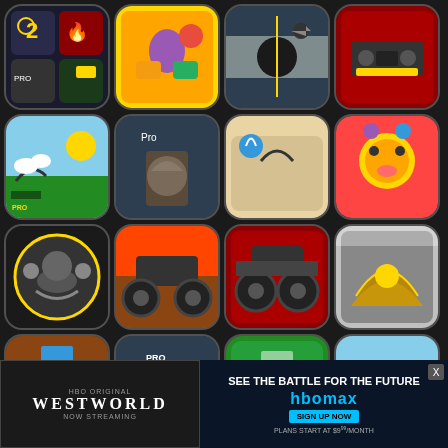[Figure (screenshot): Grid of mobile game app icons arranged in 4 columns and 6 rows on dark background, showing various games including shooting, racing, arcade, and action games]
[Figure (photo): Advertisement banner at bottom - Left side: HBO Original Westworld Now Streaming; Right side: HBO Max 'See the battle for the future' sign up ad with $9.99/month pricing]